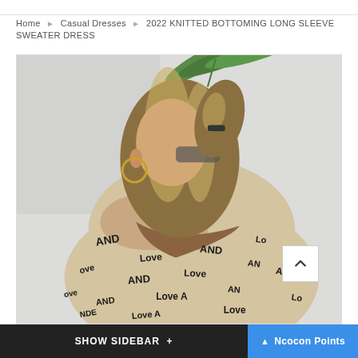Home ▶ Casual Dresses ▶ 2022 KNITTED BOTTOMING LONG SLEEVE SWEATER DRESS
[Figure (photo): A woman wearing a beige knitted sweater dress with 'AND Love' text pattern printed all over it. She has blonde wavy hair in a ponytail, gold hoop earrings, and a gold necklace. She is looking to the side against a white textured wall with tropical plant leaves in the background.]
SHOW SIDEBAR +   ▲ Ncocon Points